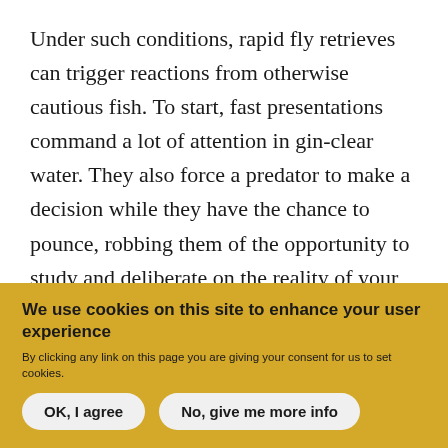Under such conditions, rapid fly retrieves can trigger reactions from otherwise cautious fish. To start, fast presentations command a lot of attention in gin-clear water. They also force a predator to make a decision while they have the chance to pounce, robbing them of the opportunity to study and deliberate on the reality of your fly. And, in the case of fish like brown trout and musky that like to follow flies to the boat without committing, a fast retrieve usually results in a more amped-up (read, tunnel-visioned) fish, in close,
We use cookies on this site to enhance your user experience
By clicking any link on this page you are giving your consent for us to set cookies.
OK, I agree
No, give me more info